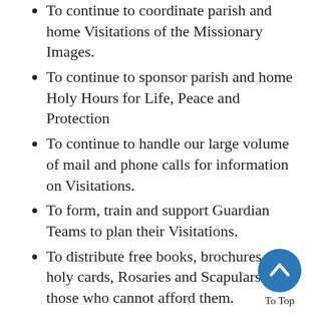To continue to coordinate parish and home Visitations of the Missionary Images.
To continue to sponsor parish and home Holy Hours for Life, Peace and Protection
To continue to handle our large volume of mail and phone calls for information on Visitations.
To form, train and support Guardian Teams to plan their Visitations.
To distribute free books, brochures, holy cards, Rosaries and Scapulars to those who cannot afford them.
To produce and distribute books, audios and videos to help to bring a Culture of Life and a Civilization of Love, for which St. John Paul II prayed.
In 2018 this resulted in hundreds of Masses, hours of adoration, rosaries, and venerations. Many